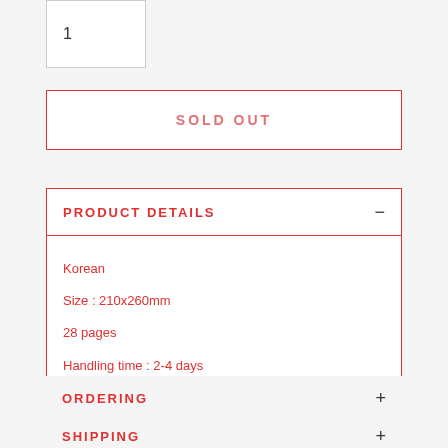1
SOLD OUT
PRODUCT DETAILS
Korean
Size : 210x260mm
28 pages
Handling time : 2-4 days
ORDERING
SHIPPING